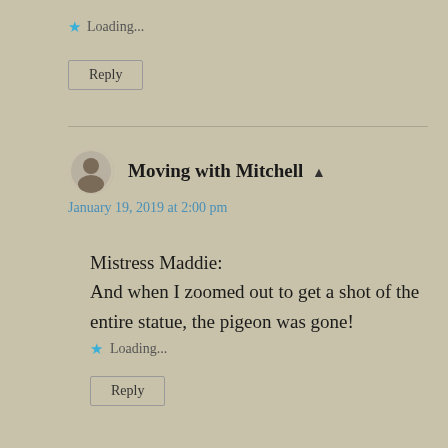Loading...
Reply
Moving with Mitchell ▲
January 19, 2019 at 2:00 pm
Mistress Maddie:
And when I zoomed out to get a shot of the entire statue, the pigeon was gone!
Loading...
Reply